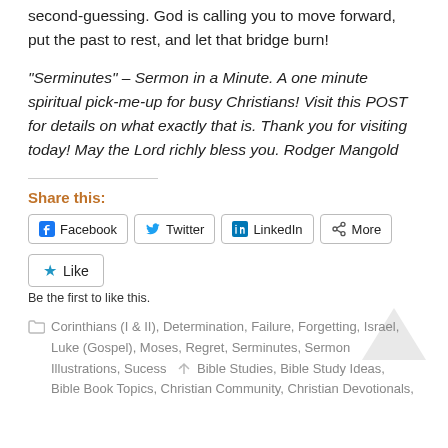second-guessing. God is calling you to move forward, put the past to rest, and let that bridge burn!
“Serminutes” – Sermon in a Minute. A one minute spiritual pick-me-up for busy Christians! Visit this POST for details on what exactly that is. Thank you for visiting today! May the Lord richly bless you. Rodger Mangold
Share this:
Facebook  Twitter  LinkedIn  More
Like
Be the first to like this.
Corinthians (I & II), Determination, Failure, Forgetting, Israel, Luke (Gospel), Moses, Regret, Serminutes, Sermon Illustrations, Sucess  Bible Studies, Bible Study Ideas, Bible Book Topics, Christian Community, Christian Devotionals,